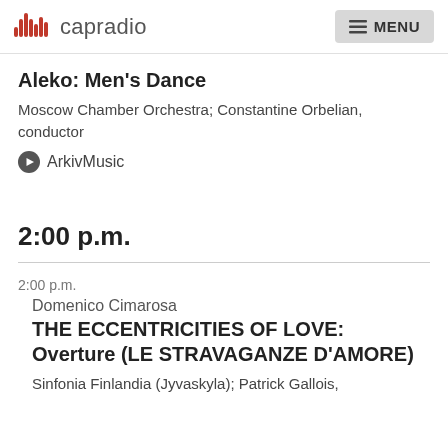capradio | MENU
Aleko: Men's Dance
Moscow Chamber Orchestra; Constantine Orbelian, conductor
ArkivMusic
2:00 p.m.
2:00 p.m.
Domenico Cimarosa
THE ECCENTRICITIES OF LOVE: Overture (LE STRAVAGANZE D'AMORE)
Sinfonia Finlandia (Jyvaskyla); Patrick Gallois,